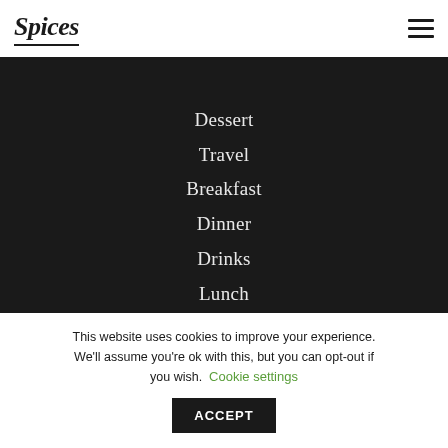Spices
Dessert
Travel
Breakfast
Dinner
Drinks
Lunch
Salads
This website uses cookies to improve your experience. We'll assume you're ok with this, but you can opt-out if you wish. Cookie settings ACCEPT